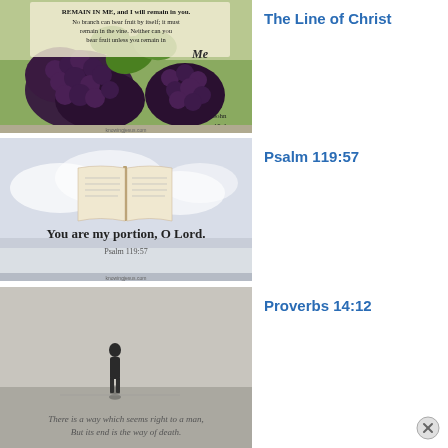[Figure (illustration): Bible verse image with grapevines and purple grapes, text reads: REMAIN IN ME, and I will remain in you. No branch can bear fruit by itself; it must remain in the vine. Neither can you bear fruit unless you remain in Me. John 15:4]
The Line of Christ
[Figure (illustration): Bible verse image with an open book floating above clouds, text reads: You are my portion, O Lord. Psalm 119:57]
Psalm 119:57
[Figure (illustration): Bible verse image showing a silhouette of a person on a dark ground, text reads: There is a way which seems right to a man, But its end is the way of death.]
Proverbs 14:12